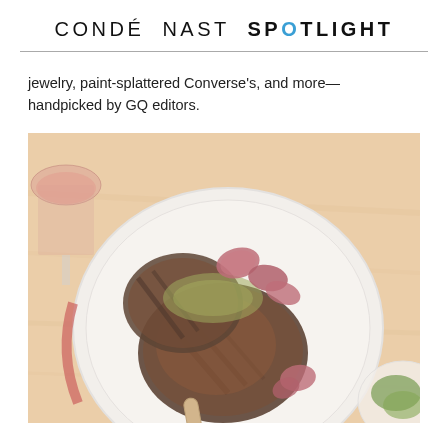CONDÉ NAST SPOTLIGHT
jewelry, paint-splattered Converse's, and more—handpicked by GQ editors.
[Figure (photo): Overhead shot of a grilled steak on a white round plate with roasted fruit garnishes, a wine glass with rosé in the top left, and a plate with greens partially visible in the bottom right, on a warm-toned wooden table surface.]